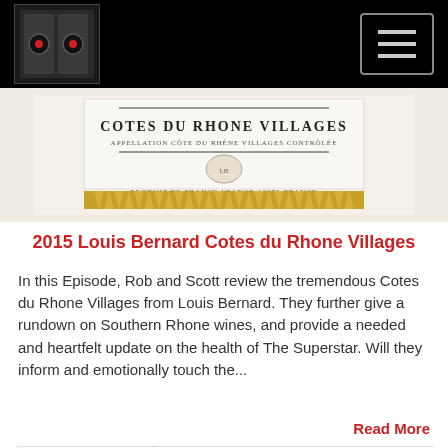[Figure (photo): Wine bottle label for Cotes du Rhone Villages by Louis Bernard with gold decorative border]
2015 Louis Bernard Cotes du Rhone Villages
In this Episode, Rob and Scott review the tremendous Cotes du Rhone Villages from Louis Bernard.  They further give a rundown on Southern Rhone wines, and provide a needed and heartfelt update on the health of The Superstar.  Will they inform and emotionally touch the...
Read More
[Figure (screenshot): Audio player widget showing THE WINE VAULT podcast, Episode 71 - Louis Bernard Cotes du Rhone Vi... with play button, progress bar, time 00:00:00 and controls for RSS, download, embed, and share]